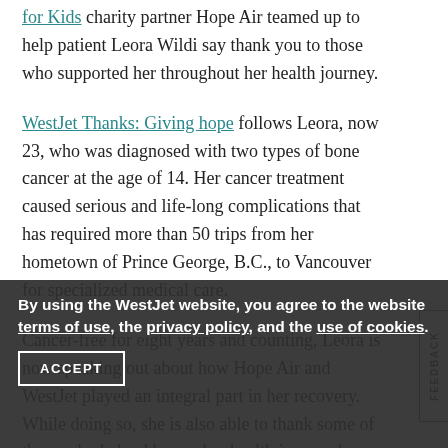for Kids charity partner Hope Air teamed up to help patient Leora Wildi say thank you to those who supported her throughout her health journey.
WestJet Thanks: Giving hope follows Leora, now 23, who was diagnosed with two types of bone cancer at the age of 14. Her cancer treatment caused serious and life-long complications that has required more than 50 trips from her hometown of Prince George, B.C., to Vancouver for specialized medical care.
Cancer-free for eight years and counting, Leora is now speaking out about how Hope Air and WestJet played an integral part in her recovery. While doing so, she is also able to thank some of those who helped her on her health journey by bringing them together for a very special day. To view the video, click here.
By using the WestJet website, you agree to the website terms of use, the privacy policy, and the use of cookies.